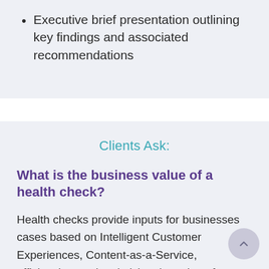Executive brief presentation outlining key findings and associated recommendations
Clients Ask:
What is the business value of a health check?
Health checks provide inputs for businesses cases based on Intelligent Customer Experiences, Content-as-a-Service, efficiencies, and optimizing the value of content assets.